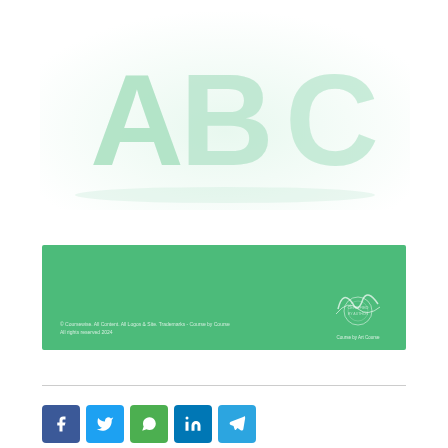[Figure (illustration): 3D rendered letters A, B, C in pale green/mint color on white background]
[Figure (illustration): Green banner/footer block with small white text at bottom left and a handwritten signature with stamp on the right]
[Figure (other): Social media share buttons: Facebook (blue), Twitter (light blue), WhatsApp (green), LinkedIn (dark blue), Telegram (blue)]